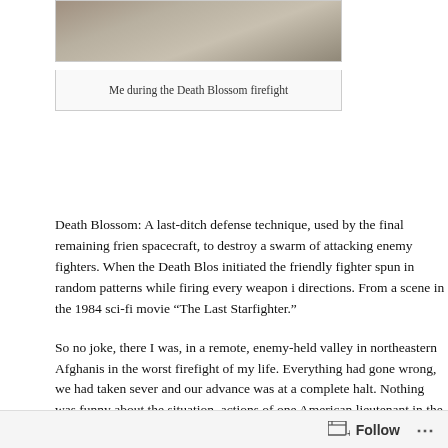[Figure (photo): A grainy photograph showing rocky/sandy terrain, partial view of a combat scene during the Death Blossom firefight]
Me during the Death Blossom firefight
Death Blossom: A last-ditch defense technique, used by the final remaining frien spacecraft, to destroy a swarm of attacking enemy fighters. When the Death Blos initiated the friendly fighter spun in random patterns while firing every weapon i directions. From a scene in the 1984 sci-fi movie “The Last Starfighter.”
So no joke, there I was, in a remote, enemy-held valley in northeastern Afghanis in the worst firefight of my life. Everything had gone wrong, we had taken sever and our advance was at a complete halt. Nothing was funny about the situation. actions of one American lieutenant in the valley.
During this fight, the advancing force wound up spread out in several locations, few hundred meters. Some of us were on top of a hill in a compound, some in a near the valley road, some in vehicles. I was in the compound. The lieutenant wh tell you about was in the wooded area. Taliban were in another compound near m the valley in another wooded area, and down the valley in several compounds, a mountains, and in the valley we had come through to get to the target valley. The
Follow ...